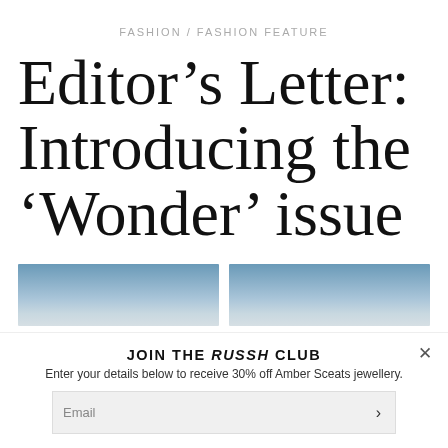FASHION / FASHION FEATURE
Editor's Letter: Introducing the 'Wonder' issue
[Figure (photo): Two side-by-side landscape images showing a blue sky gradient fading into a lighter horizon]
JOIN THE RUSSH CLUB
Enter your details below to receive 30% off Amber Sceats jewellery.
Email